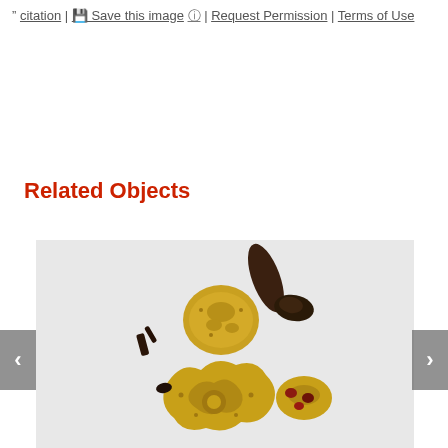citation | Save this image ? | Request Permission | Terms of Use
Related Objects
[Figure (photo): Collection of small gold decorative artifacts and fragments on a white background, including embossed gold pieces with floral/animal motifs, dark corroded fragments, and a red stone or cloisonné piece.]